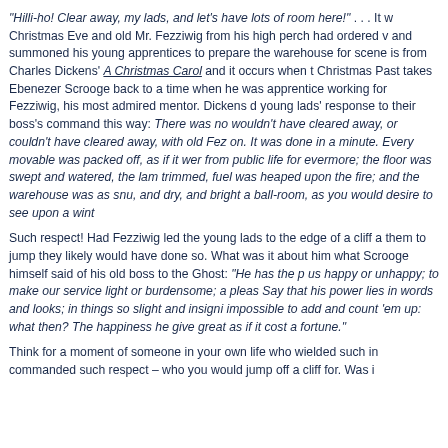"Hilli-ho!  Clear away, my lads, and let's have lots of room here!" . . .  It was Christmas Eve and old Mr. Fezziwig from his high perch had ordered w and summoned his young apprentices to prepare the warehouse for a scene is from Charles Dickens' A Christmas Carol and it occurs when t Christmas Past takes Ebenezer Scrooge back to a time when he was apprentice working for Fezziwig, his most admired mentor.  Dickens d young lads' response to their boss's command this way:  There was no wouldn't have cleared away, or couldn't have cleared away, with old Fez on.  It was done in a minute.  Every movable was packed off, as if it wer from public life for evermore; the floor was swept and watered, the lam trimmed, fuel was heaped upon the fire; and the warehouse was as snu and dry, and bright a ball-room, as you would desire to see upon a wint
Such respect!  Had Fezziwig led the young lads to the edge of a cliff a them to jump they likely would have done so.  What was it about him what Scrooge himself said of his old boss to the Ghost:  "He has the p us happy or unhappy; to make our service light or burdensome; a pleas Say that his power lies in words and looks; in things so slight and insign impossible to add and count 'em up:  what then?  The happiness he give great as if it cost a fortune."
Think for a moment of someone in your own life who wielded such in commanded such respect – who you would jump off a cliff for.  Was i